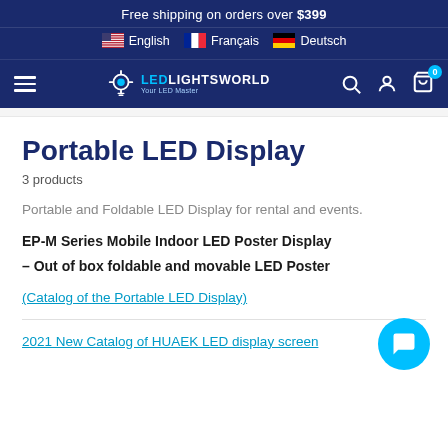Free shipping on orders over $399
English  Français  Deutsch
LEDLIGHTSWORLD – Your LED Master – navigation with search, account, cart (0)
Portable LED Display
3 products
Portable and Foldable LED Display for rental and events.
EP-M Series Mobile Indoor LED Poster Display
– Out of box foldable and movable LED Poster
(Catalog of the Portable LED Display)
2021 New Catalog of HUAEK LED display screen